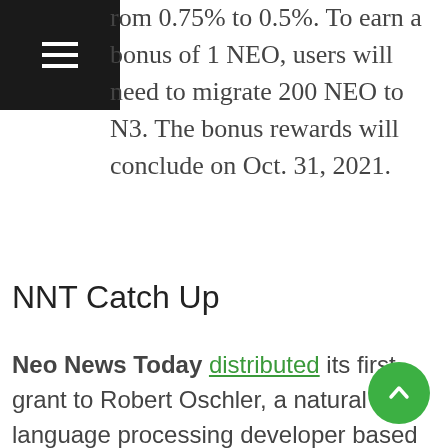rom 0.75% to 0.5%. To earn a bonus of 1 NEO, users will need to migrate 200 NEO to N3. The bonus rewards will conclude on Oct. 31, 2021.
NNT Catch Up
Neo News Today distributed its first grant to Robert Oschler, a natural language processing developer based in Idaho, USA. Oschler was introduced to the Neo ecosystem during the Neo Frontier Launchpad event. As part of the grant, Oschler will migrate his Ethereum Band Battles application to Neo, documenting his journey and explaining the process